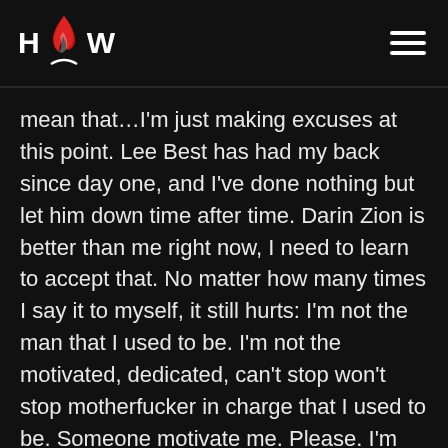HOW logo with flame icon and hamburger menu
mean that…I'm just making excuses at this point. Lee Best has had my back since day one, and I've done nothing but let him down time after time. Darin Zion is better than me right now, I need to learn to accept that. No matter how many times I say it to myself, it still hurts: I'm not the man that I used to be. I'm not the motivated, dedicated, can't stop won't stop motherfucker in charge that I used to be. Someone motivate me. Please. I'm